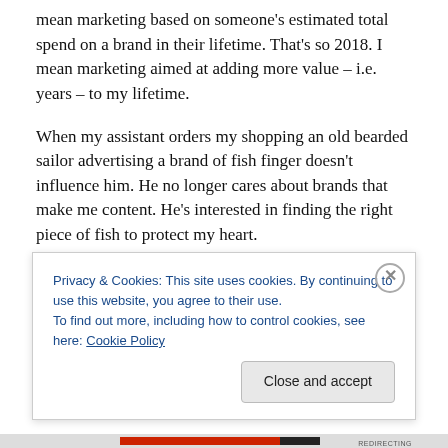mean marketing based on someone's estimated total spend on a brand in their lifetime. That's so 2018. I mean marketing aimed at adding more value – i.e. years – to my lifetime.
When my assistant orders my shopping an old bearded sailor advertising a brand of fish finger doesn't influence him. He no longer cares about brands that make me content. He's interested in finding the right piece of fish to protect my heart.
He puts in front of me the media content that will keep me
Privacy & Cookies: This site uses cookies. By continuing to use this website, you agree to their use.
To find out more, including how to control cookies, see here: Cookie Policy